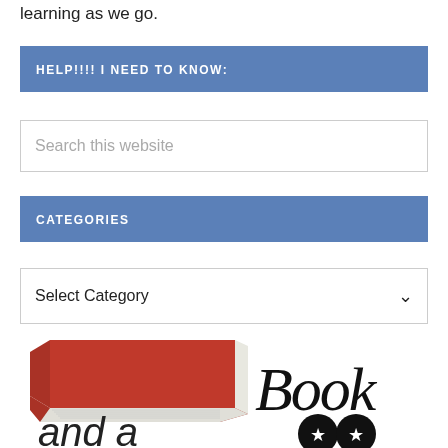learning as we go.
HELP!!!! I NEED TO KNOW:
[Figure (screenshot): Search this website input box]
CATEGORIES
[Figure (screenshot): Select Category dropdown box]
[Figure (illustration): Red book illustration with cursive 'Book' text and 'and a' text with star eyes icon below]